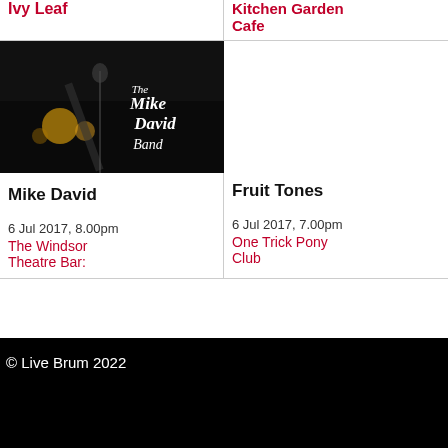Ivy Leaf
Kitchen Garden Cafe
[Figure (photo): The Mike David Band promotional photo showing musicians on a dark background with band name in script lettering]
Mike David
Fruit Tones
6 Jul 2017, 8.00pm
The Windsor Theatre Bar:
6 Jul 2017, 7.00pm
One Trick Pony Club
© Live Brum 2022